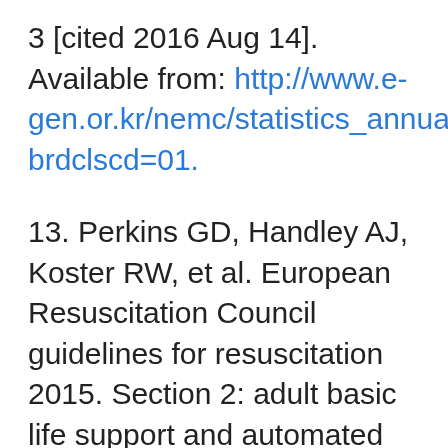3 [cited 2016 Aug 14]. Available from: http://www.e-gen.or.kr/nemc/statistics_annual_report.do?brdclscd=01.
13. Perkins GD, Handley AJ, Koster RW, et al. European Resuscitation Council guidelines for resuscitation 2015. Section 2: adult basic life support and automated external defibrillation. Resuscitation 2015;